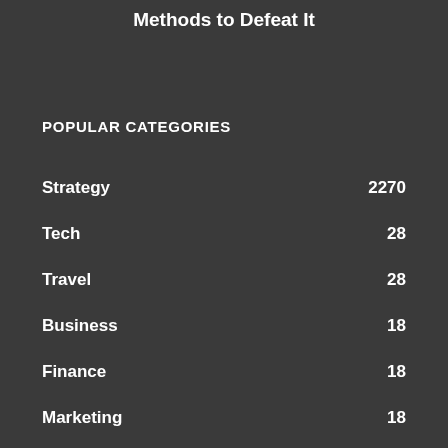Methods to Defeat It
POPULAR CATEGORIES
Strategy 2270
Tech 28
Travel 28
Business 18
Finance 18
Marketing 18